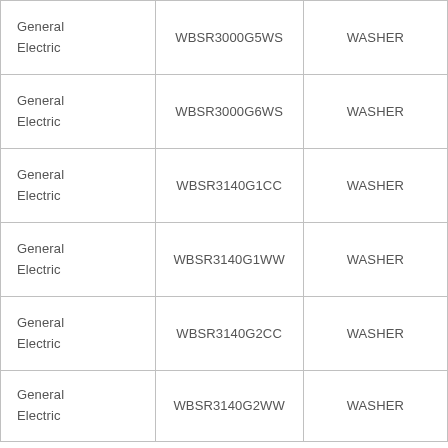| General Electric | WBSR3000G5WS | WASHER |
| General Electric | WBSR3000G6WS | WASHER |
| General Electric | WBSR3140G1CC | WASHER |
| General Electric | WBSR3140G1WW | WASHER |
| General Electric | WBSR3140G2CC | WASHER |
| General Electric | WBSR3140G2WW | WASHER |